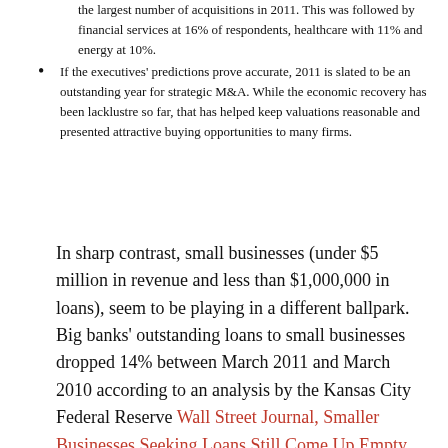the largest number of acquisitions in 2011. This was followed by financial services at 16% of respondents, healthcare with 11% and energy at 10%.
If the executives' predictions prove accurate, 2011 is slated to be an outstanding year for strategic M&A. While the economic recovery has been lacklustre so far, that has helped keep valuations reasonable and presented attractive buying opportunities to many firms.
In sharp contrast, small businesses (under $5 million in revenue and less than $1,000,000 in loans), seem to be playing in a different ballpark. Big banks' outstanding loans to small businesses dropped 14% between March 2011 and March 2010 according to an analysis by the Kansas City Federal Reserve Wall Street Journal, Smaller Businesses Seeking Loans Still Come Up Empty.